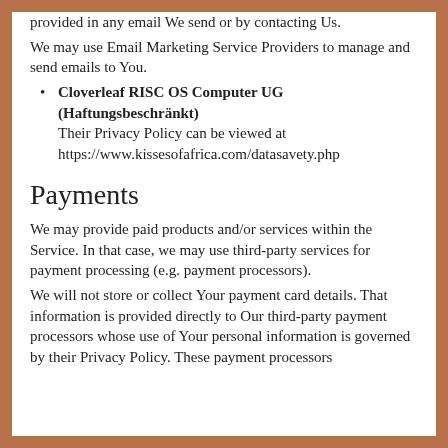provided in any email We send or by contacting Us.
We may use Email Marketing Service Providers to manage and send emails to You.
Cloverleaf RISC OS Computer UG (Haftungsbeschränkt)
Their Privacy Policy can be viewed at https://www.kissesofafrica.com/datasavety.php
Payments
We may provide paid products and/or services within the Service. In that case, we may use third-party services for payment processing (e.g. payment processors).
We will not store or collect Your payment card details. That information is provided directly to Our third-party payment processors whose use of Your personal information is governed by their Privacy Policy. These payment processors adhere to the standards set by PCI-DSS...